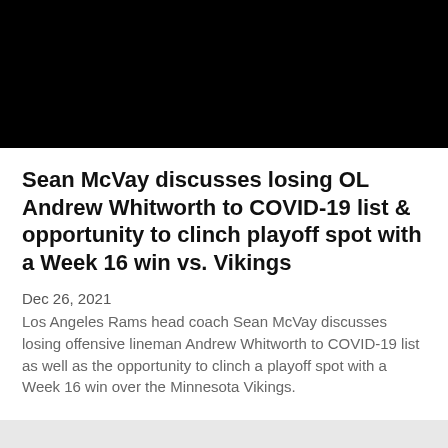[Figure (photo): Black banner image area at the top of the page]
Sean McVay discusses losing OL Andrew Whitworth to COVID-19 list & opportunity to clinch playoff spot with a Week 16 win vs. Vikings
Dec 26, 2021
Los Angeles Rams head coach Sean McVay discusses losing offensive lineman Andrew Whitworth to COVID-19 list as well as the opportunity to clinch a playoff spot with a Week 16 win over the Minnesota Vikings.